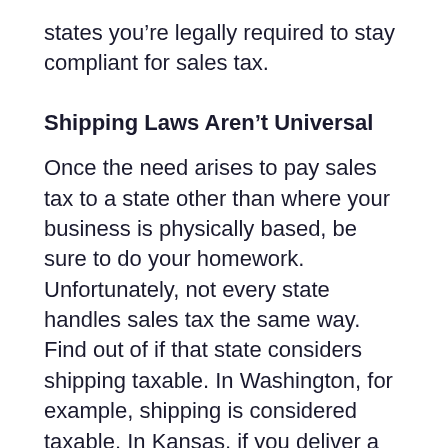states you're legally required to stay compliant for sales tax.
Shipping Laws Aren't Universal
Once the need arises to pay sales tax to a state other than where your business is physically based, be sure to do your homework. Unfortunately, not every state handles sales tax the same way. Find out of if that state considers shipping taxable. In Washington, for example, shipping is considered taxable. In Kansas, if you deliver a taxable item yourself to a Kansas address (not using the Postal Service or UPS) then